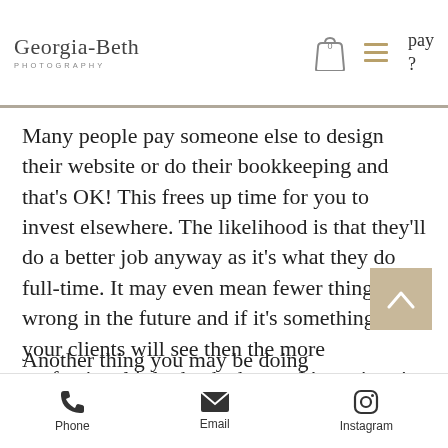Georgia-Beth Photography | 0 | nav | pay ?
Many people pay someone else to design their website or do their bookkeeping and that's OK! This frees up time for you to invest elsewhere. The likelihood is that they'll do a better job anyway as it's what they do full-time. It may even mean fewer things go wrong in the future and if it's something that your clients will see then the more professional it looks the better. It's a win-win.
Another thing you may be doing
Phone | Email | Instagram